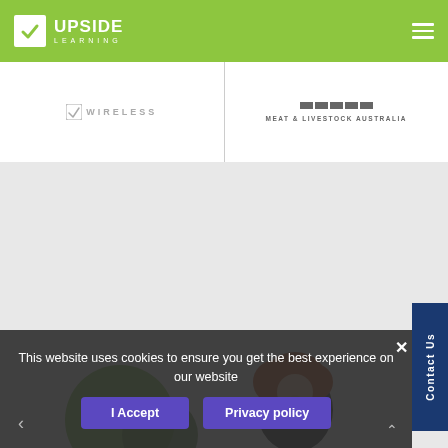[Figure (logo): Upside Learning logo with green background header and hamburger menu icon]
[Figure (logo): WIRELESS client logo in gray text]
[Figure (logo): MEAT & LIVESTOCK AUSTRALIA client logo with bar graphic]
[Figure (illustration): Illustrated characters including person with red hair and green circular elements on gray background]
This website uses cookies to ensure you get the best experience on our website
I Accept
Privacy policy
Contact Us